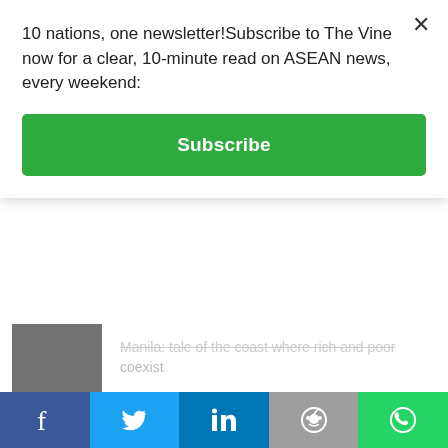10 nations, one newsletter!Subscribe to The Vine now for a clear, 10-minute read on ASEAN news, every weekend:
Subscribe
Manila: tale of the coast where rich and poor coexist
The Philippines' influential business families
Tourism arrivals in the Philippines show rising trend
Pregnancies surge in the Philippines during pandemic lockdown
Sabah contributes to FTB goals